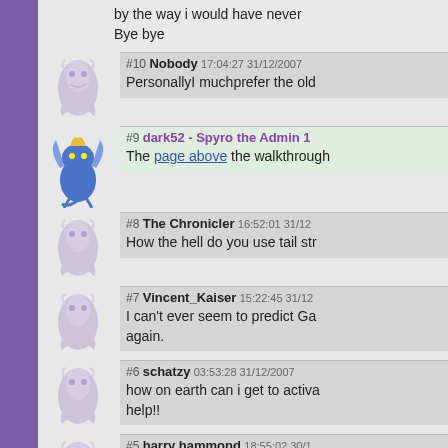by the way i would have never
Bye bye
#10 Nobody 17:04:27 31/12/2007
PersonallyI muchprefer the old
#9 dark52 - Spyro the Admin 1
The page above the walkthrough
#8 The Chronicler 16:52:01 31/12
How the hell do you use tail str
#7 Vincent_Kaiser 15:22:45 31/12
I can't ever seem to predict Ga again.
#6 schatzy 03:53:28 31/12/2007
how on earth can i get to activa help!!
#5 harry hammond 18:55:02 30/1
who needs a walkthrough